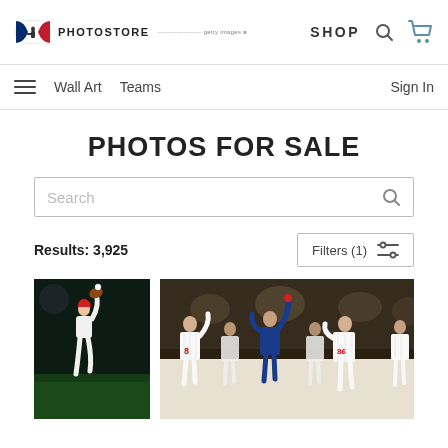MLB PHOTOSTORE — SHOP [search icon] [cart icon]
≡  Wall Art  Teams  Sign In
PHOTOS FOR SALE
Search
Results: 3,925  Filters (1)
[Figure (photo): Baseball player leaping/diving to catch a ball, dark stadium background, wearing white uniform]
[Figure (photo): Baseball team celebrating, players in white pinstripe uniforms with numbers 8 and 86 visible, crowded group celebration]